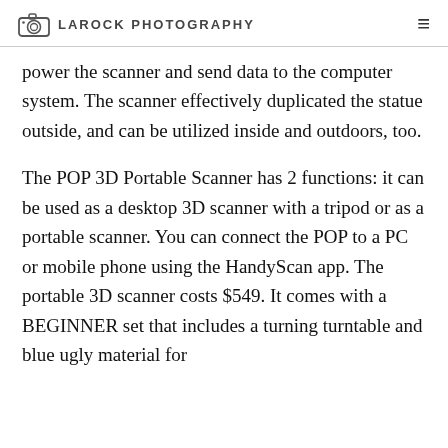LAROCK PHOTOGRAPHY
power the scanner and send data to the computer system. The scanner effectively duplicated the statue outside, and can be utilized inside and outdoors, too.
The POP 3D Portable Scanner has 2 functions: it can be used as a desktop 3D scanner with a tripod or as a portable scanner. You can connect the POP to a PC or mobile phone using the HandyScan app. The portable 3D scanner costs $549. It comes with a BEGINNER set that includes a turning turntable and blue ugly material for